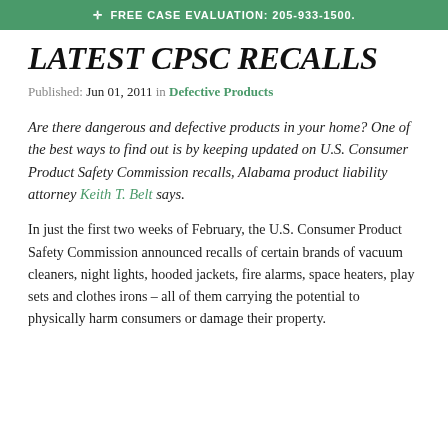✛ FREE CASE EVALUATION: 205-933-1500.
LATEST CPSC RECALLS
Published: Jun 01, 2011 in Defective Products
Are there dangerous and defective products in your home? One of the best ways to find out is by keeping updated on U.S. Consumer Product Safety Commission recalls, Alabama product liability attorney Keith T. Belt says.
In just the first two weeks of February, the U.S. Consumer Product Safety Commission announced recalls of certain brands of vacuum cleaners, night lights, hooded jackets, fire alarms, space heaters, play sets and clothes irons – all of them carrying the potential to physically harm consumers or damage their property.